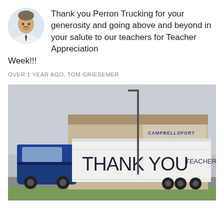[Figure (photo): Circular avatar/profile photo of a man in a white shirt and tie, middle-aged, against a blurred background.]
Thank you Perron Trucking for your generosity and going above and beyond in your salute to our teachers for Teacher Appreciation Week!!!
OVER 1 YEAR AGO, TOM GRIESEMER
[Figure (photo): A blue semi-truck with a white trailer parked in front of a building labeled CAMPBELLSPORT. The side of the trailer reads THANK YOU TEACHERS in large hand-drawn letters.]